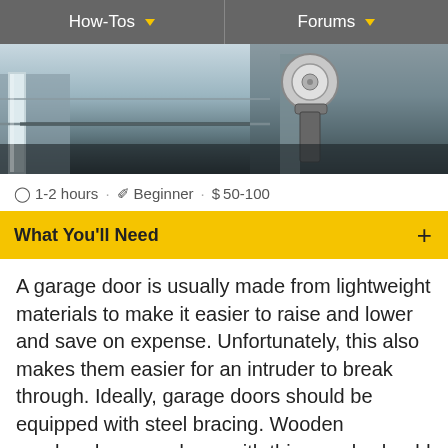How-Tos   Forums
[Figure (photo): Close-up photo of a garage door roller/hinge mechanism with metal tracks, showing steel hardware components]
1-2 hours · Beginner · $ 50-100
What You'll Need
A garage door is usually made from lightweight materials to make it easier to raise and lower and save on expense. Unfortunately, this also makes them easier for an intruder to break through. Ideally, garage doors should be equipped with steel bracing. Wooden overhead garage doors with thin panels should be reinforced on the